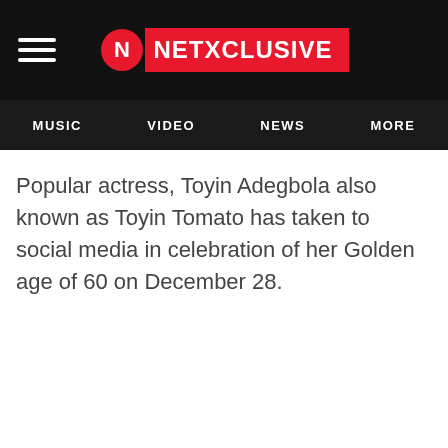NETXCLUSIVE
MUSIC   VIDEO   NEWS   MORE
Popular actress, Toyin Adegbola also known as Toyin Tomato has taken to social media in celebration of her Golden age of 60 on December 28.